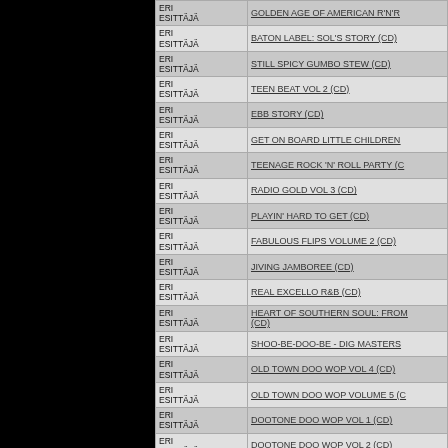| ERI ESITTÄJÄ | Title |
| --- | --- |
| ERI ESITTÄJÄ | GOLDEN AGE OF AMERICAN R'N'R |
| ERI ESITTÄJÄ | BATON LABEL: SOL'S STORY (CD) |
| ERI ESITTÄJÄ | STILL SPICY GUMBO STEW (CD) |
| ERI ESITTÄJÄ | TEEN BEAT VOL 2 (CD) |
| ERI ESITTÄJÄ | EBB STORY (CD) |
| ERI ESITTÄJÄ | GET ON BOARD LITTLE CHILDREN |
| ERI ESITTÄJÄ | TEENAGE ROCK 'N' ROLL PARTY (C |
| ERI ESITTÄJÄ | RADIO GOLD VOL 3 (CD) |
| ERI ESITTÄJÄ | PLAYIN' HARD TO GET (CD) |
| ERI ESITTÄJÄ | FABULOUS FLIPS VOLUME 2 (CD) |
| ERI ESITTÄJÄ | JIVING JAMBOREE (CD) |
| ERI ESITTÄJÄ | REAL EXCELLO R&B (CD) |
| ERI ESITTÄJÄ | HEART OF SOUTHERN SOUL: FROM (CD) |
| ERI ESITTÄJÄ | SHOO-BE-DOO-BE - DIG MASTERS |
| ERI ESITTÄJÄ | OLD TOWN DOO WOP VOL 4 (CD) |
| ERI ESITTÄJÄ | OLD TOWN DOO WOP VOLUME 5 (C |
| ERI ESITTÄJÄ | DOOTONE DOO WOP VOL 1 (CD) |
| ERI ESITTÄJÄ | DOOTONE DOO WOP VOL 2 (CD) |